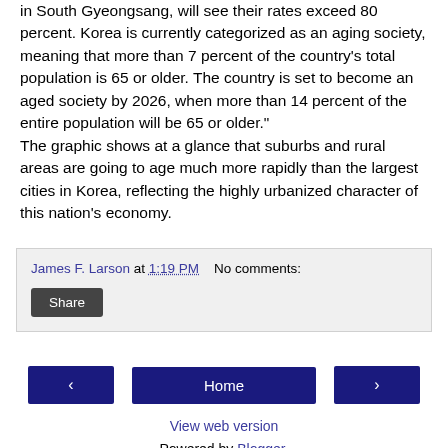in South Gyeongsang, will see their rates exceed 80 percent. Korea is currently categorized as an aging society, meaning that more than 7 percent of the country's total population is 65 or older. The country is set to become an aged society by 2026, when more than 14 percent of the entire population will be 65 or older." The graphic shows at a glance that suburbs and rural areas are going to age much more rapidly than the largest cities in Korea, reflecting the highly urbanized character of this nation's economy.
James F. Larson at 1:19 PM  No comments:
Share
‹
Home
›
View web version
Powered by Blogger.